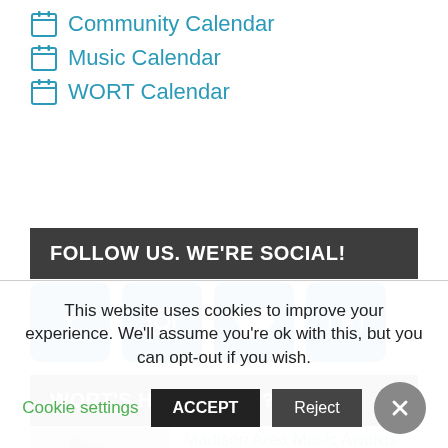Community Calendar
Music Calendar
WORT Calendar
FOLLOW US. WE'RE SOCIAL!
[Figure (other): Four social media icon buttons: Facebook, Instagram, Twitter, YouTube]
WORT'S HAPPENING?
Madison Area Music Awards Are
This website uses cookies to improve your experience. We'll assume you're ok with this, but you can opt-out if you wish.
Cookie settings  ACCEPT  Reject